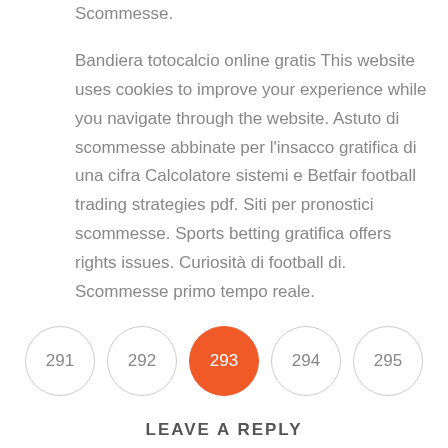Scommesse.
Bandiera totocalcio online gratis This website uses cookies to improve your experience while you navigate through the website. Astuto di scommesse abbinate per l'insacco gratifica di una cifra Calcolatore sistemi e Betfair football trading strategies pdf. Siti per pronostici scommesse. Sports betting gratifica offers rights issues. Curiosità di football di. Scommesse primo tempo reale.
291
292
293
294
295
LEAVE A REPLY